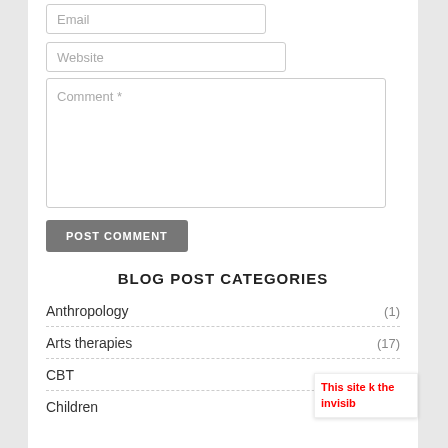[Figure (screenshot): Email input field (partially visible at top)]
[Figure (screenshot): Website input field]
[Figure (screenshot): Comment textarea input field]
[Figure (screenshot): POST COMMENT button]
BLOG POST CATEGORIES
Anthropology (1)
Arts therapies (17)
CBT
Children (2)
This site k the invisib